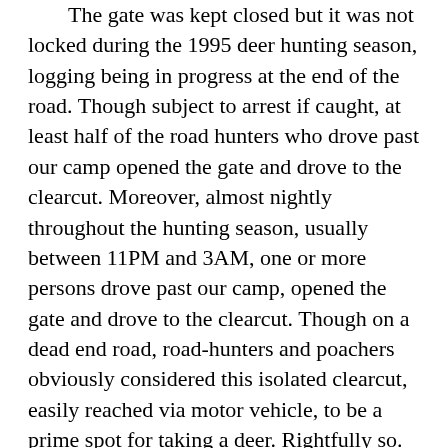The gate was kept closed but it was not locked during the 1995 deer hunting season, logging being in progress at the end of the road. Though subject to arrest if caught, at least half of the road hunters who drove past our camp opened the gate and drove to the clearcut. Moreover, almost nightly throughout the hunting season, usually between 11PM and 3AM, one or more persons drove past our camp, opened the gate and drove to the clearcut. Though on a dead end road, road-hunters and poachers obviously considered this isolated clearcut, easily reached via motor vehicle, to be a prime spot for taking a deer. Rightfully so. For two years the lush greens and browse of a new, wide open clearcut will attract unusual numbers of easily-spotted deer, especially at night.
To reduce the likelihood of poaching in this area this year, I asked the U.S. Forestry Service to keep